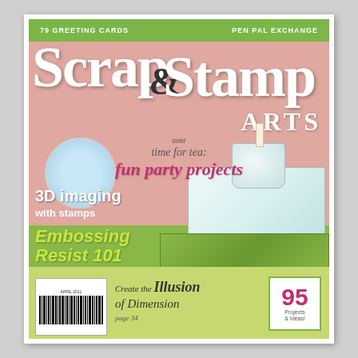[Figure (illustration): Magazine cover of Scrap & Stamp Arts. Pink and green color scheme. Features decorated boxes/gift wrapping, a teacup, and circular decorative element. Cover includes text about greeting cards, pen pal exchange, party projects, 3D imaging with stamps, Embossing Resist 101, Turquoise & Black Challenge Results, and Create the Illusion of Dimension.]